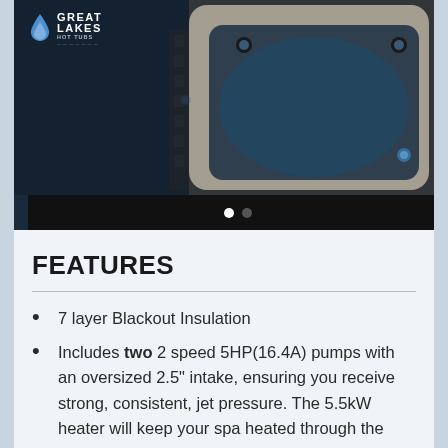[Figure (photo): Great Lakes Hot Tubs product photo showing a hot tub with dark navy/brown cabinet exterior, with the Great Lakes Hot Tubs logo overlaid in the top-left corner. Image is partially darkened with navigation dots at the bottom.]
FEATURES
7 layer Blackout Insulation
Includes two 2 speed 5HP(16.4A) pumps with an oversized 2.5" intake, ensuring you receive strong, consistent, jet pressure. The 5.5kW heater will keep your spa heated through the harsh winter season.